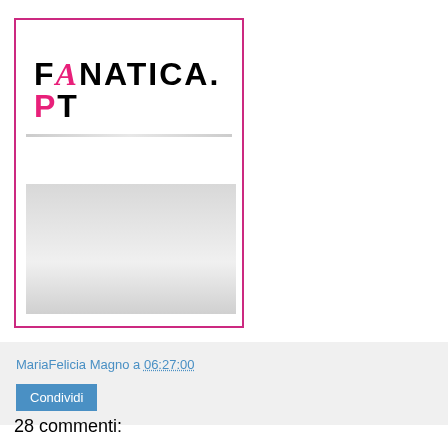[Figure (screenshot): Preview box with fanatica.pt logo and a gray image placeholder below a divider line. The box has a pink/magenta border.]
MariaFelicia Magno a 06:27:00
Condividi
28 commenti: